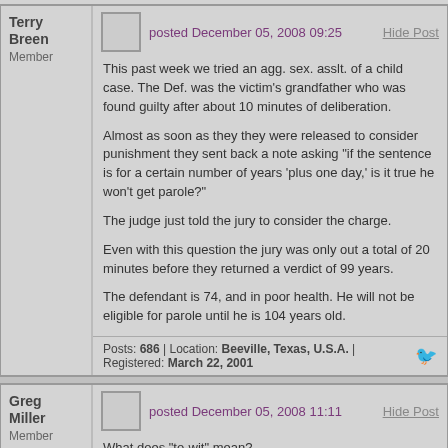Terry Breen
Member
posted December 05, 2008 09:25
Hide Post
This past week we tried an agg. sex. asslt. of a child case. The Def. was the victim's grandfather who was found guilty after about 10 minutes of deliberation.
Almost as soon as they they were released to consider punishment they sent back a note asking "if the sentence is for a certain number of years 'plus one day,' is it true he won't get parole?"
The judge just told the jury to consider the charge.
Even with this question the jury was only out a total of 20 minutes before they returned a verdict of 99 years.
The defendant is 74, and in poor health. He will not be eligible for parole until he is 104 years old.
Posts: 686 | Location: Beeville, Texas, U.S.A. | Registered: March 22, 2001
Greg Miller
Member
posted December 05, 2008 11:11
Hide Post
What does "to-wit" mean?
Does "unanimous" and "majority" mean the same thing?